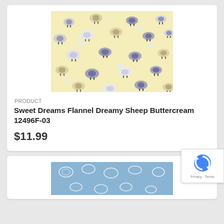[Figure (photo): Fabric swatch showing a pattern of dreamy sheep in purple, white, and tan colors on a light yellow/buttercream background with small clouds and leaves.]
PRODUCT
Sweet Dreams Flannel Dreamy Sheep Buttercream 12496F-03
$11.99
[Figure (photo): Fabric swatch showing a blue background with white outlined cloud and sheep patterns, partially visible at bottom of page.]